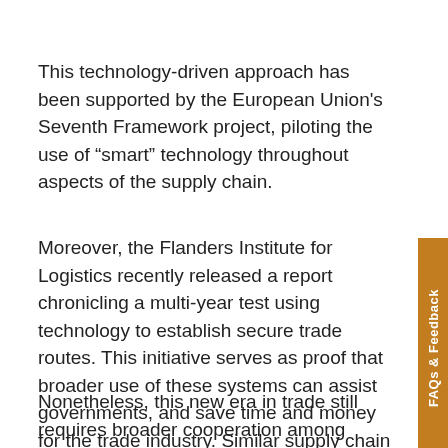This technology-driven approach has been supported by the European Union's Seventh Framework project, piloting the use of “smart” technology throughout aspects of the supply chain.
Moreover, the Flanders Institute for Logistics recently released a report chronicling a multi-year test using technology to establish secure trade routes. This initiative serves as proof that broader use of these systems can assist governments, and save time and money for the trade industry. Similar supply chain technology programs have been started at DHS and the World Customs Organization.
Nonetheless, this new era in trade still requires broader cooperation among public and private stakeholders engaged in operating and regulating the global supply